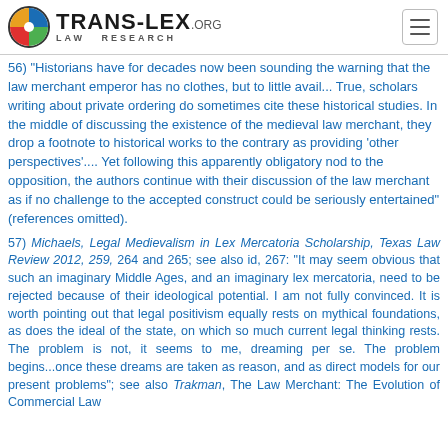TRANS-LEX.ORG LAW RESEARCH
56) "Historians have for decades now been sounding the warning that the law merchant emperor has no clothes, but to little avail... True, scholars writing about private ordering do sometimes cite these historical studies. In the middle of discussing the existence of the medieval law merchant, they drop a footnote to historical works to the contrary as providing 'other perspectives'.... Yet following this apparently obligatory nod to the opposition, the authors continue with their discussion of the law merchant as if no challenge to the accepted construct could be seriously entertained" (references omitted).
57) Michaels, Legal Medievalism in Lex Mercatoria Scholarship, Texas Law Review 2012, 259, 264 and 265; see also id, 267: "It may seem obvious that such an imaginary Middle Ages, and an imaginary lex mercatoria, need to be rejected because of their ideological potential. I am not fully convinced. It is worth pointing out that legal positivism equally rests on mythical foundations, as does the ideal of the state, on which so much current legal thinking rests. The problem is not, it seems to me, dreaming per se. The problem begins...once these dreams are taken as reason, and as direct models for our present problems"; see also Trakman, The Law Merchant: The Evolution of Commercial Law